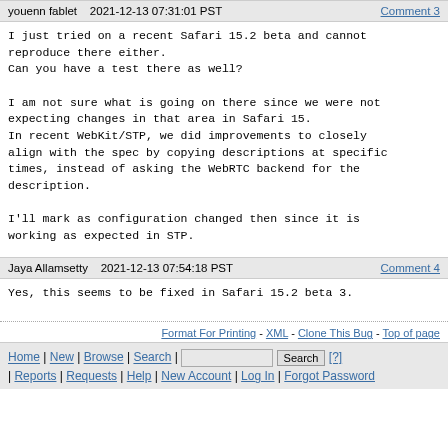youenn fablet   2021-12-13 07:31:01 PST   Comment 3
I just tried on a recent Safari 15.2 beta and cannot
reproduce there either.
Can you have a test there as well?

I am not sure what is going on there since we were not
expecting changes in that area in Safari 15.
In recent WebKit/STP, we did improvements to closely
align with the spec by copying descriptions at specific
times, instead of asking the WebRTC backend for the
description.

I'll mark as configuration changed then since it is
working as expected in STP.
Jaya Allamsetty   2021-12-13 07:54:18 PST   Comment 4
Yes, this seems to be fixed in Safari 15.2 beta 3.
Format For Printing - XML - Clone This Bug - Top of page
Home | New | Browse | Search | [Search] [?] | Reports | Requests | Help | New Account | Log In | Forgot Password